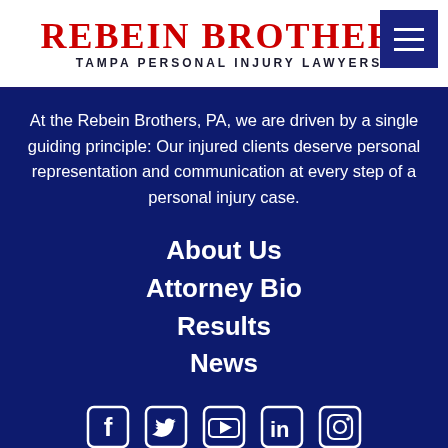Rebein Brothers Tampa Personal Injury Lawyers
At the Rebein Brothers, PA, we are driven by a single guiding principle: Our injured clients deserve personal representation and communication at every step of a personal injury case.
About Us
Attorney Bio
Results
News
[Figure (infographic): Social media icons: Facebook, Twitter, YouTube, LinkedIn, Instagram]